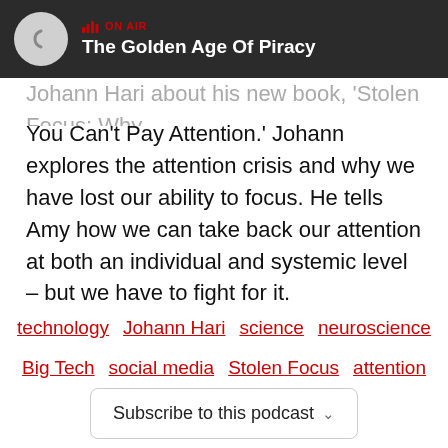ON AIR – The Golden Age Of Piracy
You Can't Pay Attention.' Johann explores the attention crisis and why we have lost our ability to focus. He tells Amy how we can take back our attention at both an individual and systemic level – but we have to fight for it.
technology
Johann Hari
science
neuroscience
Big Tech
social media
Stolen Focus
attention
focus
sleep
reading
screens
Subscribe to this podcast